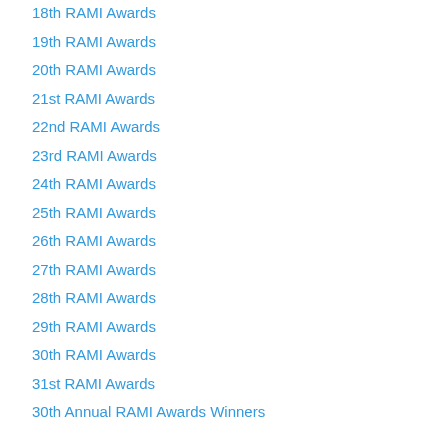18th RAMI Awards
19th RAMI Awards
20th RAMI Awards
21st RAMI Awards
22nd RAMI Awards
23rd RAMI Awards
24th RAMI Awards
25th RAMI Awards
26th RAMI Awards
27th RAMI Awards
28th RAMI Awards
29th RAMI Awards
30th RAMI Awards
31st RAMI Awards
30th Annual RAMI Awards Winners